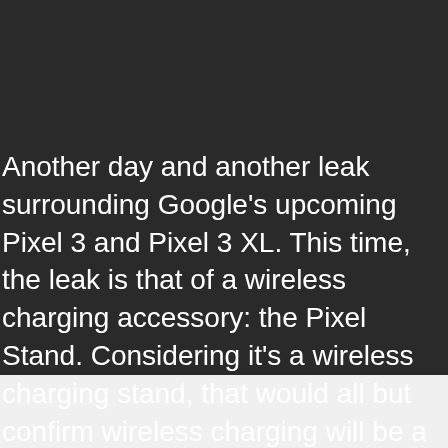Another day and another leak surrounding Google's upcoming Pixel 3 and Pixel 3 XL. This time, the leak is that of a wireless charging accessory: the Pixel Stand. Considering it's a wireless charging stand, that would all but confirm wireless charging will be a feature of Google's upcoming flagship Android devices.